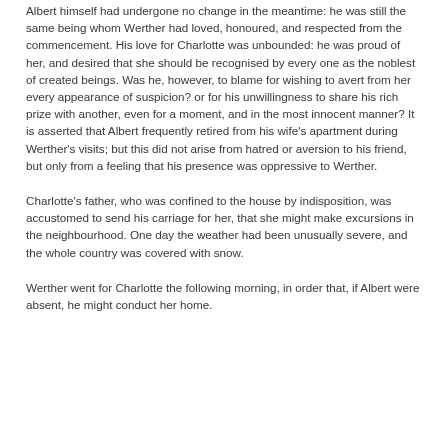Albert himself had undergone no change in the meantime: he was still the same being whom Werther had loved, honoured, and respected from the commencement. His love for Charlotte was unbounded: he was proud of her, and desired that she should be recognised by every one as the noblest of created beings. Was he, however, to blame for wishing to avert from her every appearance of suspicion? or for his unwillingness to share his rich prize with another, even for a moment, and in the most innocent manner? It is asserted that Albert frequently retired from his wife's apartment during Werther's visits; but this did not arise from hatred or aversion to his friend, but only from a feeling that his presence was oppressive to Werther.
Charlotte's father, who was confined to the house by indisposition, was accustomed to send his carriage for her, that she might make excursions in the neighbourhood. One day the weather had been unusually severe, and the whole country was covered with snow.
Werther went for Charlotte the following morning, in order that, if Albert were absent, he might conduct her home.